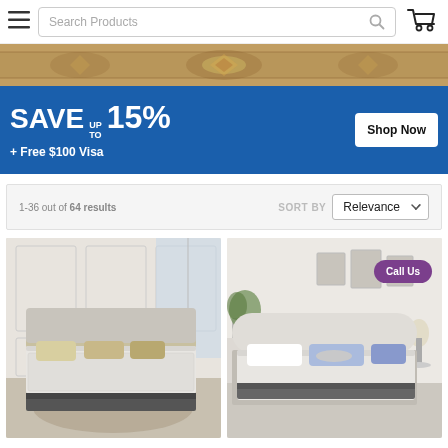Search Products
[Figure (screenshot): Promotional banner: SAVE UP TO 15% + Free $100 Visa with Shop Now button, above a rug texture background]
1-36 out of 64 results   SORT BY  Relevance
[Figure (photo): Bedroom with a white/grey mattress on a bed frame with upholstered headboard]
[Figure (photo): Bedroom with a white/grey mattress on bed with arched headboard and a Call Us badge overlay]